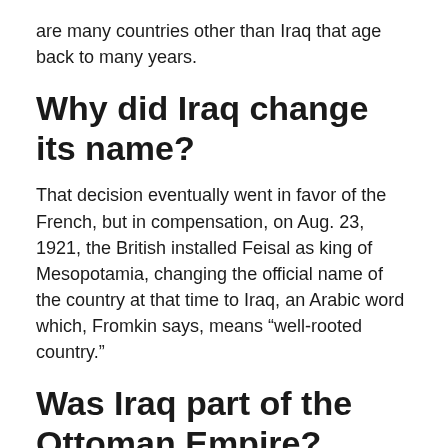are many countries other than Iraq that age back to many years.
Why did Iraq change its name?
That decision eventually went in favor of the French, but in compensation, on Aug. 23, 1921, the British installed Feisal as king of Mesopotamia, changing the official name of the country at that time to Iraq, an Arabic word which, Fromkin says, means “well-rooted country.”
Was Iraq part of the Ottoman Empire?